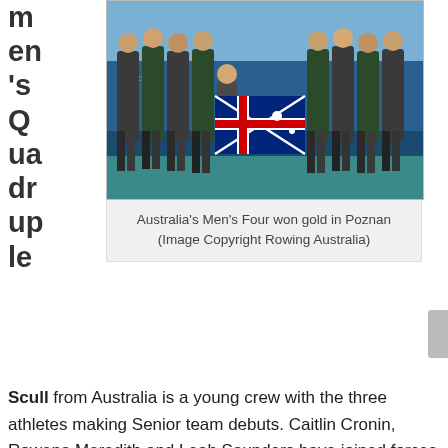m en 's Q ua dr up le Scull
[Figure (photo): Group photo of Australian rowing team holding the Australian flag at an outdoor rowing venue, with a blue mat/banner visible in the background.]
Australia's Men's Four won gold in Poznan (Image Copyright Rowing Australia)
Scull from Australia is a young crew with the three athletes making Senior team debuts. Caitlin Cronin, Rowena Meredith and Leah Saunders have joined forces with Olympian Genevieve Horton in this boat class and were on for a tough race with crews from Poland, China and Germany.
The Poles shot out at the start the fastest, getting themselves an open water advantage with Germany (the Olympic Champions) in second and Australia in third. However, the Australians paced their race well